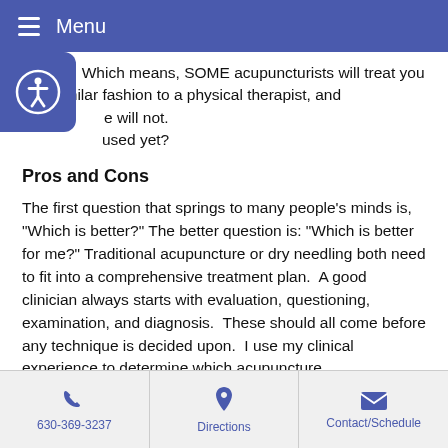Menu
pain is,  Which means, SOME acupuncturists will treat you in a similar fashion to a physical therapist, and will not.
used yet?
Pros and Cons
The first question that springs to many people’s minds is, “Which is better?” The better question is: “Which is better for me?” Traditional acupuncture or dry needling both need to fit into a comprehensive treatment plan.  A good clinician always starts with evaluation, questioning, examination, and diagnosis.  These should all come before any technique is decided upon.  I use my clinical experience to determine which acupuncture
630-369-3237  Directions  Contact/Schedule